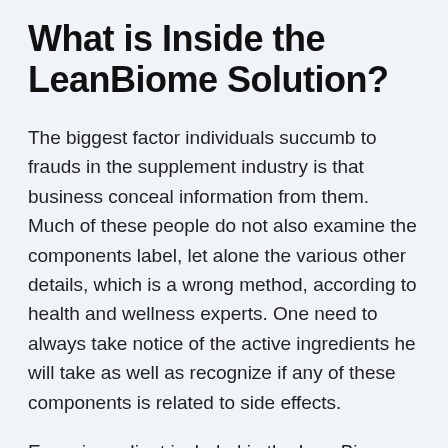What is Inside the LeanBiome Solution?
The biggest factor individuals succumb to frauds in the supplement industry is that business conceal information from them. Much of these people do not also examine the components label, let alone the various other details, which is a wrong method, according to health and wellness experts. One need to always take notice of the active ingredients he will take as well as recognize if any of these components is related to side effects.
Every ingredient included in the LeanBiome formula is chosen after experiencing the research study data revealing its benefits. Making use of the initial dietary resources can additionally aid get the